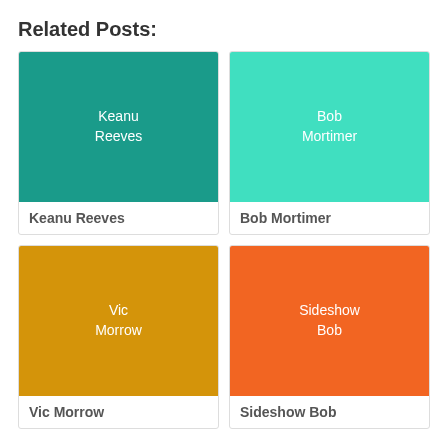Related Posts:
[Figure (illustration): Teal colored square with text 'Keanu Reeves' in white]
Keanu Reeves
[Figure (illustration): Mint/turquoise colored square with text 'Bob Mortimer' in white]
Bob Mortimer
[Figure (illustration): Gold/yellow colored square with text 'Vic Morrow' in white]
Vic Morrow
[Figure (illustration): Orange colored square with text 'Sideshow Bob' in white]
Sideshow Bob